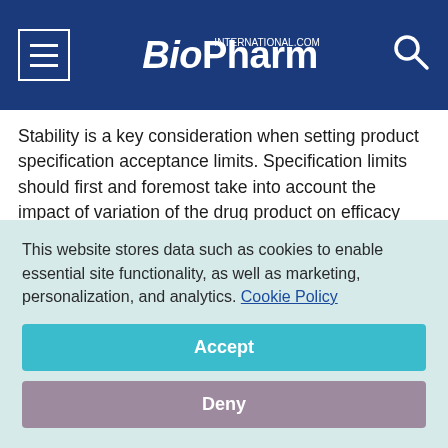BioPharm International
Stability is a key consideration when setting product specification acceptance limits. Specification limits should first and foremost take into account the impact of variation of the drug product on efficacy and safety, and then secondarily, it should take into account three sources of variation: product/process variation, assay or method variation, and stability variation (see
Figure 4
This website stores data such as cookies to enable essential site functionality, as well as marketing, personalization, and analytics. Cookie Policy
Accept
Deny